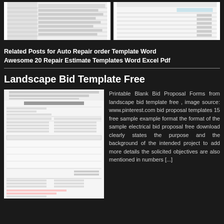[Figure (screenshot): Two thumbnail images of document templates side by side]
Related Posts for Auto Repair order Template Word Awesome 20 Repair Estimate Templates Word Excel Pdf
Landscape Bid Template Free
[Figure (screenshot): Lawn Service Estimate Form document template with lines and table]
Printable Blank Bid Proposal Forms from landscape bid template free , image source: www.pinterest.com bid proposal templates 15 free sample example format the format of the sample electrical bid proposal free download clearly states the purpose and the background of the intended project to add more details the solicited objectives are also mentioned in numbers [...]